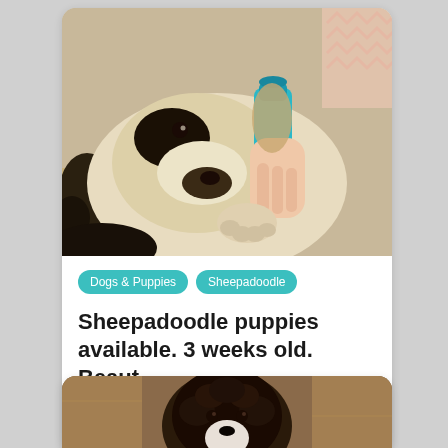[Figure (photo): A young golden/cream colored puppy being bottle-fed, lying on a blanket. The puppy has dark markings around its eye and is drinking from a blue bottle held by a human hand.]
Dogs & Puppies
Sheepadoodle
Sheepadoodle puppies available. 3 weeks old. Beaut
$2,000
[Figure (photo): Partially visible photo of a dark-colored curly-haired puppy, likely a Sheepadoodle, viewed from above on a wooden floor.]